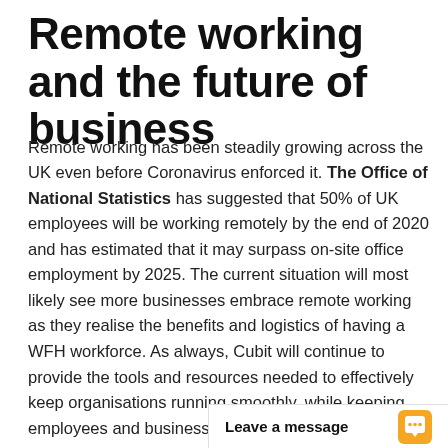Remote working and the future of business
Remote working has been steadily growing across the UK even before Coronavirus enforced it. The Office of National Statistics has suggested that 50% of UK employees will be working remotely by the end of 2020 and has estimated that it may surpass on-site office employment by 2025. The current situation will most likely see more businesses embrace remote working as they realise the benefits and logistics of having a WFH workforce. As always, Cubit will continue to provide the tools and resources needed to effectively keep organisations running smoothly, while keeping employees and businesses safe.